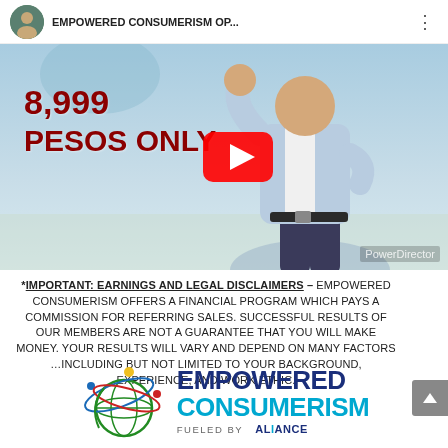[Figure (screenshot): YouTube video thumbnail showing a man in a light blue blazer with text '8,999 PESOS ONLY' in dark red, a YouTube play button overlay, and the video title 'EMPOWERED CONSUMERISM OP...' in the header. PowerDirector watermark visible at bottom right.]
*IMPORTANT: EARNINGS AND LEGAL DISCLAIMERS – EMPOWERED CONSUMERISM OFFERS A FINANCIAL PROGRAM WHICH PAYS A COMMISSION FOR REFERRING SALES. SUCCESSFUL RESULTS OF OUR MEMBERS ARE NOT A GUARANTEE THAT YOU WILL MAKE MONEY. YOUR RESULTS WILL VARY AND DEPEND ON MANY FACTORS …INCLUDING BUT NOT LIMITED TO YOUR BACKGROUND, EXPERIENCE, AND WORK ETHIC.
[Figure (logo): Empowered Consumerism logo with a globe icon surrounded by colored orbiting lines (red, yellow, green, blue) and the text 'EMPOWERED CONSUMERISM' in blue and light blue, with 'FUELED BY ALLIANCE' below.]